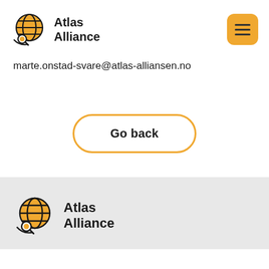[Figure (logo): Atlas Alliance logo in header: orange globe with grid lines and magnifying glass icon, with text 'Atlas Alliance' to the right]
[Figure (other): Orange rounded-rectangle hamburger menu button with three horizontal lines]
marte.onstad-svare@atlas-alliansen.no
Go back
[Figure (logo): Atlas Alliance logo in footer: orange globe with grid lines and magnifying glass icon, with bold text 'Atlas Alliance' to the right]